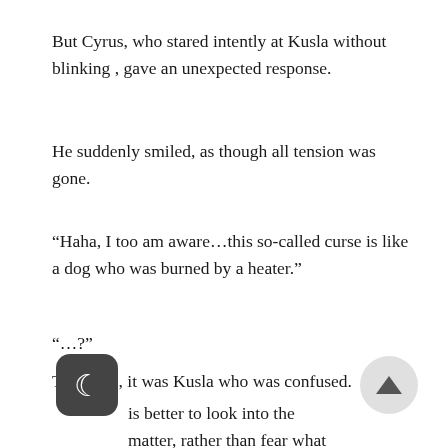But Cyrus, who stared intently at Kusla without blinking , gave an unexpected response.
He suddenly smiled, as though all tension was gone.
“Haha, I too am aware…this so-called curse is like a dog who was burned by a heater.”
“…?”
This time, it was Kusla who was confused.
is better to look into the matter, rather than fear what is in the grass. Speaking of which□ the Poldorofs had been doing this for